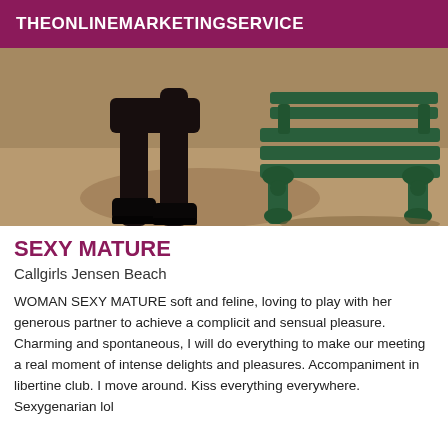THEONLINEMARKETINGSERVICE
[Figure (photo): Photo of a person's legs in black boots standing near an ornate green park bench on sandy ground]
SEXY MATURE
Callgirls Jensen Beach
WOMAN SEXY MATURE soft and feline, loving to play with her generous partner to achieve a complicit and sensual pleasure. Charming and spontaneous, I will do everything to make our meeting a real moment of intense delights and pleasures. Accompaniment in libertine club. I move around. Kiss everything everywhere. Sexygenarian lol